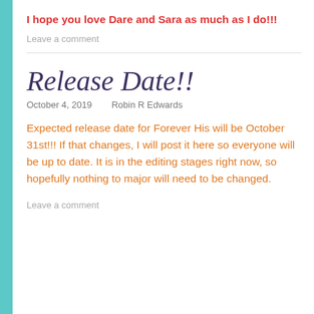I hope you love Dare and Sara as much as I do!!!
Leave a comment
Release Date!!
October 4, 2019   Robin R Edwards
Expected release date for Forever His will be October 31st!!! If that changes, I will post it here so everyone will be up to date. It is in the editing stages right now, so hopefully nothing to major will need to be changed.
Leave a comment